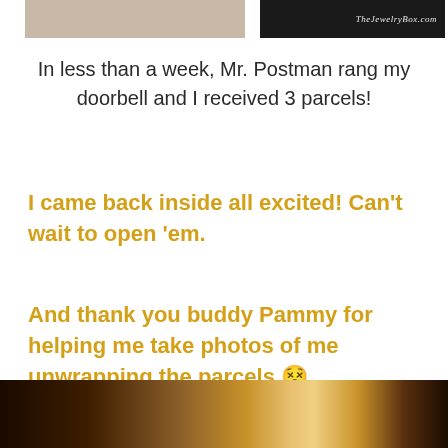[Figure (photo): Partial photo at top of page showing cropped image on left with skin tones and dark banner on right with website watermark text]
In less than a week, Mr. Postman rang my doorbell and I received 3 parcels!
I came back inside all excited! Can't wait to open 'em.
And thank you buddy Pammy for helping me take photos of me unwrapping the parcels 😵
[Figure (photo): Partial photo at bottom of page showing wrapped parcels or packages on a dark background]